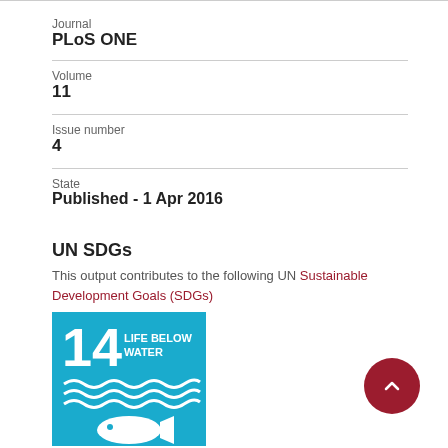Journal
PLoS ONE
Volume
11
Issue number
4
State
Published - 1 Apr 2016
UN SDGs
This output contributes to the following UN Sustainable Development Goals (SDGs)
[Figure (logo): UN SDG 14 - Life Below Water badge. Blue square with number 14 and text LIFE BELOW WATER, with wave and fish icons in white.]